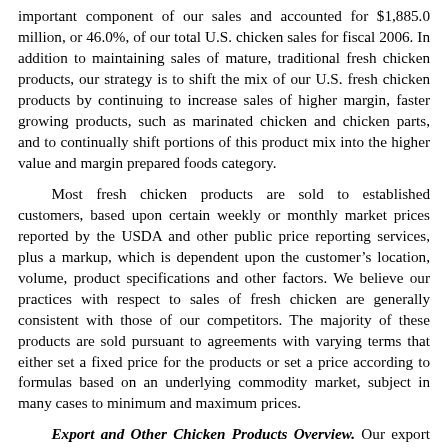important component of our sales and accounted for $1,885.0 million, or 46.0%, of our total U.S. chicken sales for fiscal 2006. In addition to maintaining sales of mature, traditional fresh chicken products, our strategy is to shift the mix of our U.S. fresh chicken products by continuing to increase sales of higher margin, faster growing products, such as marinated chicken and chicken parts, and to continually shift portions of this product mix into the higher value and margin prepared foods category.
Most fresh chicken products are sold to established customers, based upon certain weekly or monthly market prices reported by the USDA and other public price reporting services, plus a markup, which is dependent upon the customer's location, volume, product specifications and other factors. We believe our practices with respect to sales of fresh chicken are generally consistent with those of our competitors. The majority of these products are sold pursuant to agreements with varying terms that either set a fixed price for the products or set a price according to formulas based on an underlying commodity market, subject in many cases to minimum and maximum prices.
Export and Other Chicken Products Overview. Our export and other products consist of whole chickens and chicken parts sold...